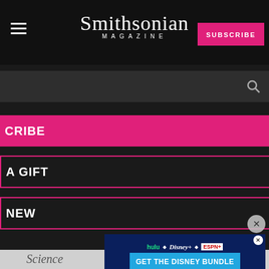Smithsonian MAGAZINE
SUBSCRIBE
SUBSCRIBE
GIVE A GIFT
RENEW
[Figure (photo): Portrait painting of an 18th century gentleman in a brown coat with gold buttons, white cravat, grey powdered hair, painted in classical portrait style against a brownish-gold background]
Report an ad
[Figure (infographic): Disney Bundle advertisement banner showing Hulu, Disney+, and ESPN+ logos with text GET THE DISNEY BUNDLE]
Science